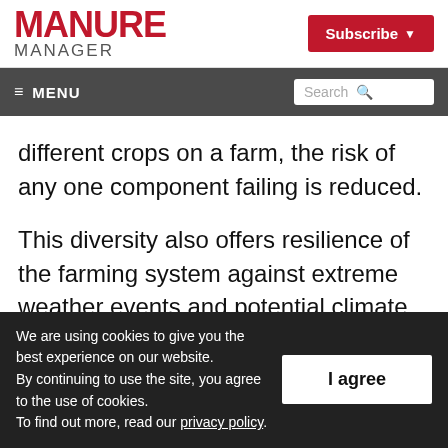MANURE MANAGER
Subscribe
≡ MENU  Search
different crops on a farm, the risk of any one component failing is reduced.
This diversity also offers resilience of the farming system against extreme weather events and potential climate change. Greater integration of crops and livestock using
We are using cookies to give you the best experience on our website. By continuing to use the site, you agree to the use of cookies. To find out more, read our privacy policy.